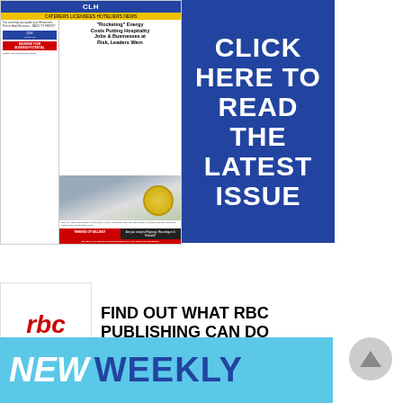[Figure (screenshot): Advertisement banner showing a newspaper front page thumbnail with headline 'Rocketing Energy Costs Putting Hospitality Jobs & Businesses at Risk, Leaders Warn', alongside a dark blue box with large white text reading 'CLICK HERE TO READ THE LATEST ISSUE']
[Figure (logo): RBC Publishing logo (red letters rbc with 'PUBLISHING ltd' text below) alongside bold text: 'FIND OUT WHAT RBC PUBLISHING CAN DO FOR YOUR BUSINESS!' with YOUR in red]
[Figure (infographic): Blue banner with large white italic text 'NEW' followed by dark blue bold text 'WEEKLY']